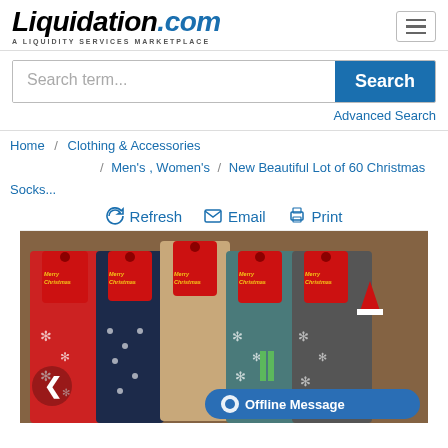Liquidation.com — A LIQUIDITY SERVICES MARKETPLACE
Search term...
Search
Advanced Search
Home / Clothing & Accessories / Men's , Women's / New Beautiful Lot of 60 Christmas Socks...
Refresh Email Print
[Figure (photo): Five pairs of Christmas socks laid flat showing red, navy, beige, teal/green, and grey colors, each with a red Merry Christmas tag at the top featuring Santa and snowman imagery. The socks have snowflake and holiday patterns.]
Offline Message